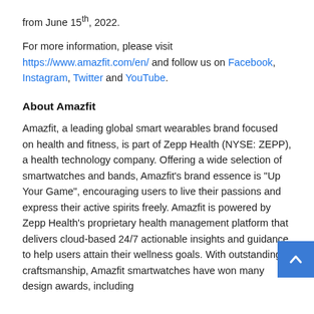from June 15th, 2022.
For more information, please visit https://www.amazfit.com/en/ and follow us on Facebook, Instagram, Twitter and YouTube.
About Amazfit
Amazfit, a leading global smart wearables brand focused on health and fitness, is part of Zepp Health (NYSE: ZEPP), a health technology company. Offering a wide selection of smartwatches and bands, Amazfit's brand essence is "Up Your Game", encouraging users to live their passions and express their active spirits freely. Amazfit is powered by Zepp Health's proprietary health management platform that delivers cloud-based 24/7 actionable insights and guidance to help users attain their wellness goals. With outstanding craftsmanship, Amazfit smartwatches have won many design awards, including